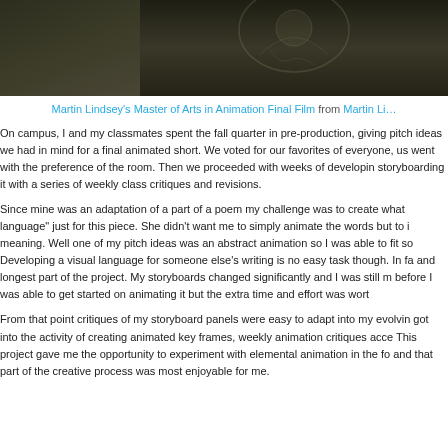[Figure (illustration): Animated film still showing a stylized dark-toned scene with a character outline, appears to be from an animated short film.]
Martin Lindsey's Master of Arts in Animation Final Film from Martin Li…
On campus, I and my classmates spent the fall quarter in pre-production, giving pitch ideas we had in mind for a final animated short. We voted for our favorites of everyone, us went with the preference of the room. Then we proceeded with weeks of developing storyboarding it with a series of weekly class critiques and revisions.
Since mine was an adaptation of a part of a poem my challenge was to create what language" just for this piece. She didn't want me to simply animate the words but to i meaning. Well one of my pitch ideas was an abstract animation so I was able to fit so Developing a visual language for someone else's writing is no easy task though. In fa and longest part of the project. My storyboards changed significantly and I was still m before I was able to get started on animating it but the extra time and effort was wort
From that point critiques of my storyboard panels were easy to adapt into my evolvin got into the activity of creating animated key frames, weekly animation critiques acce This project gave me the opportunity to experiment with elemental animation in the fo and that part of the creative process was most enjoyable for me.